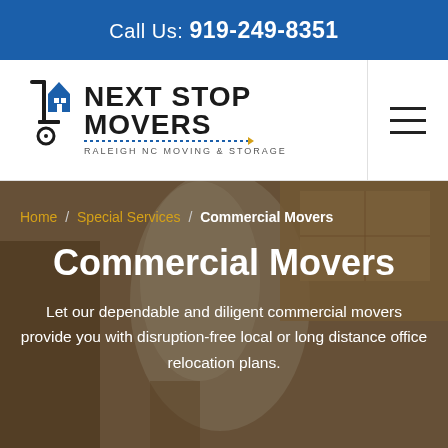Call Us: 919-249-8351
[Figure (logo): Next Stop Movers logo — Raleigh NC Moving & Storage, with a hand truck and house illustration]
Home / Special Services / Commercial Movers
Commercial Movers
Let our dependable and diligent commercial movers provide you with disruption-free local or long distance office relocation plans.